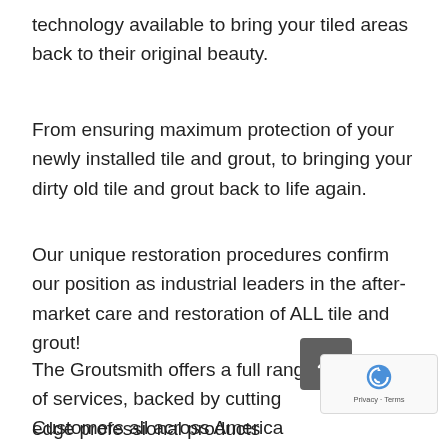technology available to bring your tiled areas back to their original beauty.
From ensuring maximum protection of your newly installed tile and grout, to bringing your dirty old tile and grout back to life again.
Our unique restoration procedures confirm our position as industrial leaders in the after-market care and restoration of ALL tile and grout!
The Groutsmith offers a full range of services, backed by cutting edge professional products designed for applications both indoors and out
Customers all across America both residential